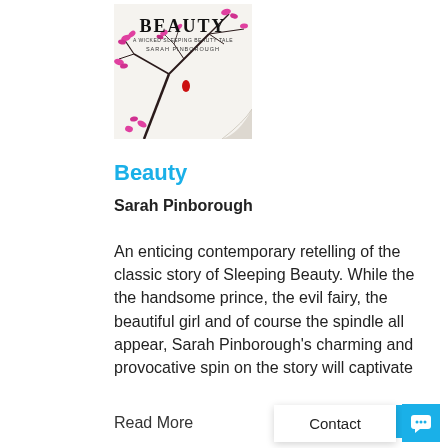[Figure (illustration): Book cover of 'Beauty: A Wicked Sleeping Beauty Tale' by Sarah Pinborough. White background with dark bare tree branches, pink/red leaf-like blossoms, and a small red droplet. The title 'BEAUTY' is in large black serif letters at the top, with subtitle 'A WICKED SLEEPING BEAUTY TALE' and author name 'SARAH PINBOROUGH' below. Bottom right corner is curled as if peeling.]
Beauty
Sarah Pinborough
An enticing contemporary retelling of the classic story of Sleeping Beauty. While the the handsome prince, the evil fairy, the beautiful girl and of course the spindle all appear, Sarah Pinborough's charming and provocative spin on the story will captivate
Read More
View in Catalog
Contact